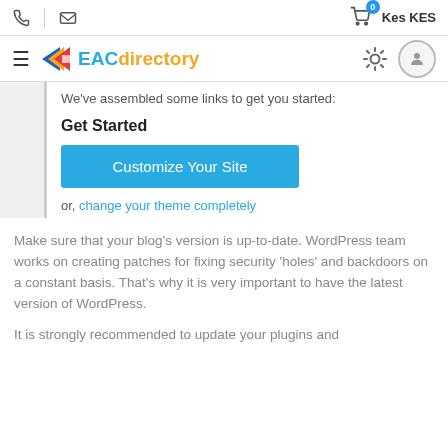📞  ✉   🛒 0  Kes KES
≡ EACdirectory ⚙ 👤
We've assembled some links to get you started:
Get Started
Customize Your Site
or, change your theme completely
Make sure that your blog's version is up-to-date. WordPress team works on creating patches for fixing security 'holes' and backdoors on a constant basis. That's why it is very important to have the latest version of WordPress.
It is strongly recommended to update your plugins and